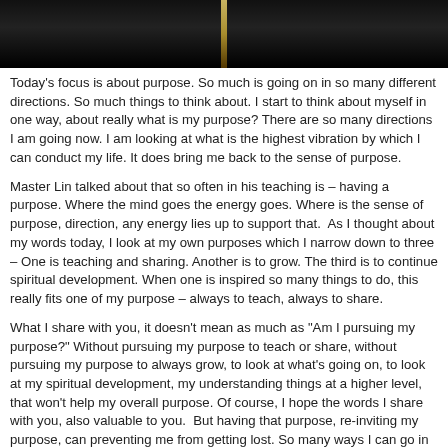[Figure (photo): Dark background photo, possibly a candle or light source against a black background]
Today's focus is about purpose. So much is going on in so many different directions. So much things to think about. I start to think about myself in one way, about really what is my purpose? There are so many directions I am going now. I am looking at what is the highest vibration by which I can conduct my life. It does bring me back to the sense of purpose.
Master Lin talked about that so often in his teaching is – having a purpose. Where the mind goes the energy goes. Where is the sense of purpose, direction, any energy lies up to support that.  As I thought about my words today, I look at my own purposes which I narrow down to three – One is teaching and sharing. Another is to grow. The third is to continue spiritual development. When one is inspired so many things to do, this really fits one of my purpose – always to teach, always to share.
What I share with you, it doesn't mean as much as "Am I pursuing my purpose?" Without pursuing my purpose to teach or share, without pursuing my purpose to always grow, to look at what's going on, to look at my spiritual development, my understanding things at a higher level, that won't help my overall purpose. Of course, I hope the words I share with you, also valuable to you.  But having that purpose, re-inviting my purpose, can preventing me from getting lost. So many ways I can go in terms of what's going on. I can find myself getting lost from